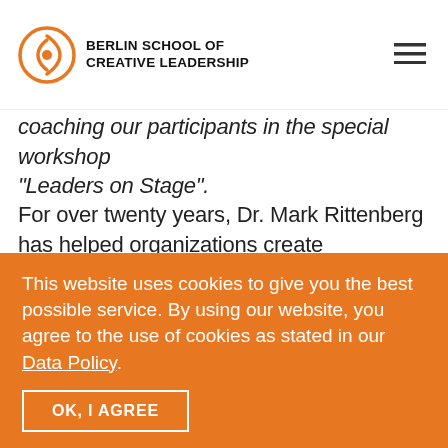BERLIN SCHOOL OF CREATIVE LEADERSHIP
coaching our participants in the special workshop "Leaders on Stage".
For over twenty years, Dr. Mark Rittenberg has helped organizations create communities of excellence among their people and empowered individuals to become true leaders with the ability to actualize a vision – all through the power of communication. Dr. Rittenberg believes that
This website uses cookies to give you the best possible service. By using our website, you agree to the use of cookies as stated in our Data Policy
OK, I AGREE